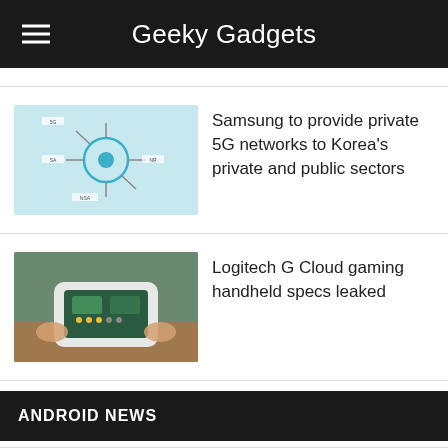Geeky Gadgets
[Figure (screenshot): Thumbnail image showing a 5G network diagram with circular hub and spokes on a light blue background]
Samsung to provide private 5G networks to Korea's private and public sectors
[Figure (photo): Thumbnail image showing hands holding a gaming handheld device over a table]
Logitech G Cloud gaming handheld specs leaked
ANDROID NEWS
[Figure (photo): Thumbnail image showing a person using a smartphone outdoors on the ground]
How to use Google Maps offline